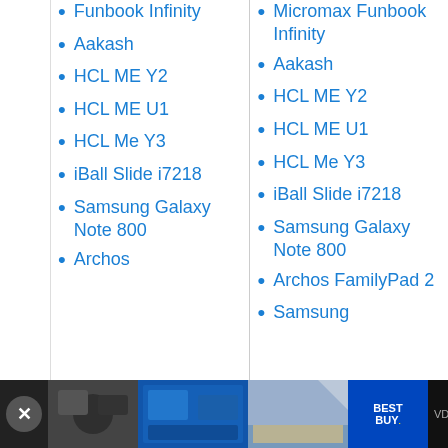Micromax Funbook Infinity
Aakash
HCL ME Y2
HCL ME U1
HCL Me Y3
iBall Slide i7218
Samsung Galaxy Note 800
Archos
Micromax Funbook Infinity
Aakash
HCL ME Y2
HCL ME U1
HCL Me Y3
iBall Slide i7218
Samsung Galaxy Note 800
Archos FamilyPad 2
Samsung
[Figure (screenshot): Advertisement bar at bottom with Best Buy ad and VDX.TV branding]